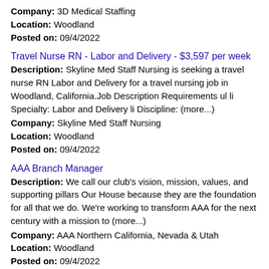Company: 3D Medical Staffing
Location: Woodland
Posted on: 09/4/2022
Travel Nurse RN - Labor and Delivery - $3,597 per week
Description: Skyline Med Staff Nursing is seeking a travel nurse RN Labor and Delivery for a travel nursing job in Woodland, California.Job Description Requirements ul li Specialty: Labor and Delivery li Discipline: (more...)
Company: Skyline Med Staff Nursing
Location: Woodland
Posted on: 09/4/2022
AAA Branch Manager
Description: We call our club's vision, mission, values, and supporting pillars Our House because they are the foundation for all that we do. We're working to transform AAA for the next century with a mission to (more...)
Company: AAA Northern California, Nevada & Utah
Location: Woodland
Posted on: 09/4/2022
Salary in Rancho Cordova, California Area | More details for Rancho Cordova, California Jobs |Salary